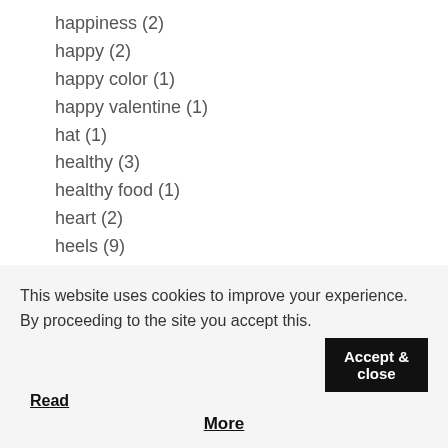happiness (2)
happy (2)
happy color (1)
happy valentine (1)
hat (1)
healthy (3)
healthy food (1)
heart (2)
heels (9)
hermes (1)
high heels (12)
high waist jeans (2)
high-waisted jeans (5)
holiday (19)
home (3)
This website uses cookies to improve your experience. By proceeding to the site you accept this. Accept & close Read More